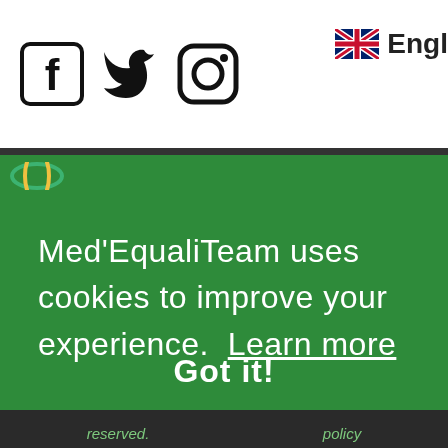[Figure (screenshot): Website header with social media icons (Facebook, Twitter, Instagram) and a UK flag language selector showing 'Engl']
Med'EqualiTeam uses cookies to improve your experience. Learn more
Got it!
reserved. policy